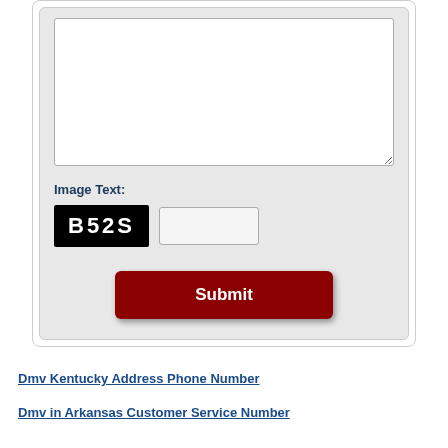[Figure (screenshot): Web form section showing a textarea input box, an Image Text CAPTCHA field with code B52S and a text entry box, and a dark red Submit button, all on a light gray panel inside a white rounded card.]
Image Text:
Submit
Dmv Kentucky Address Phone Number
Dmv in Arkansas Customer Service Number